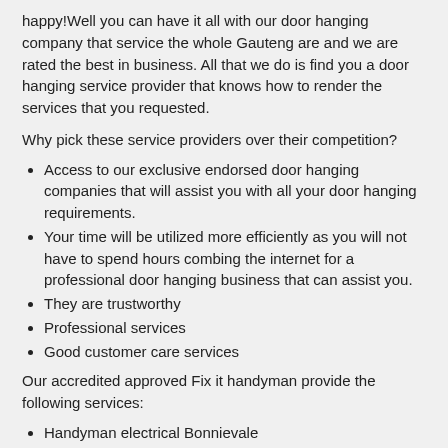happy!Well you can have it all with our door hanging company that service the whole Gauteng are and we are rated the best in business. All that we do is find you a door hanging service provider that knows how to render the services that you requested.
Why pick these service providers over their competition?
Access to our exclusive endorsed door hanging companies that will assist you with all your door hanging requirements.
Your time will be utilized more efficiently as you will not have to spend hours combing the internet for a professional door hanging business that can assist you.
They are trustworthy
Professional services
Good customer care services
Our accredited approved Fix it handyman provide the following services:
Handyman electrical Bonnievale
Handyman in Bonnievale
24 Hour Handyman Bonnievale
Door installations Bonnievale
Local handyman services Bonnievale
Plumber handyman Bonnievale
Home repair companies Bonnievale
Handyman painter Bonnievale
Fix it handyman Bonnievale
The handyman Bonnievale